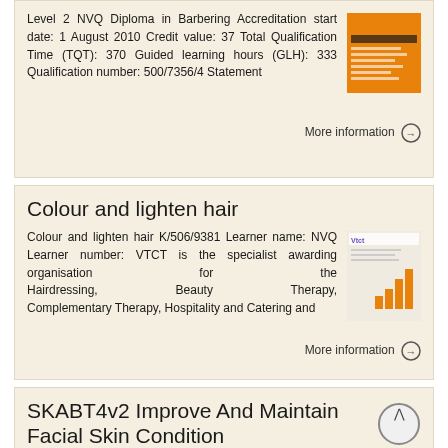Level 2 NVQ Diploma in Barbering Accreditation start date: 1 August 2010 Credit value: 37 Total Qualification Time (TQT): 370 Guided learning hours (GLH): 333 Qualification number: 500/7356/4 Statement
More information →
Colour and lighten hair
Colour and lighten hair K/506/9381 Learner name: NVQ Learner number: VTCT is the specialist awarding organisation for the Hairdressing, Beauty Therapy, Complementary Therapy, Hospitality and Catering and
More information →
SKABT4v2 Improve And Maintain Facial Skin Condition
Overview This unit is about improving and